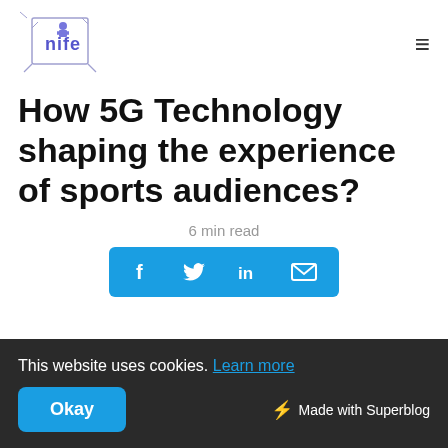nife logo and hamburger menu
How 5G Technology shaping the experience of sports audiences?
6 min read
[Figure (other): Social share buttons bar with Facebook, Twitter, LinkedIn, and Email icons on blue background]
This website uses cookies. Learn more
Okay | Made with Superblog